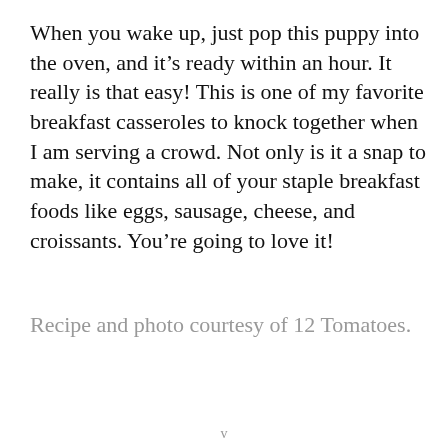When you wake up, just pop this puppy into the oven, and it's ready within an hour. It really is that easy! This is one of my favorite breakfast casseroles to knock together when I am serving a crowd. Not only is it a snap to make, it contains all of your staple breakfast foods like eggs, sausage, cheese, and croissants. You're going to love it!
Recipe and photo courtesy of 12 Tomatoes.